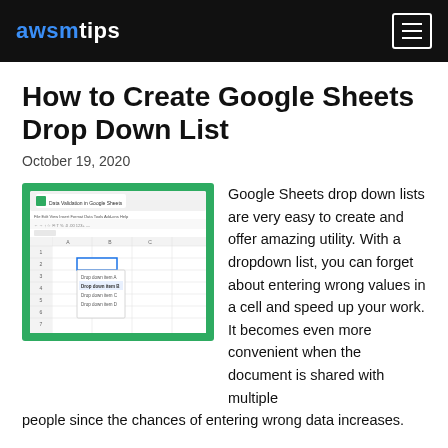awsmtips
How to Create Google Sheets Drop Down List
October 19, 2020
[Figure (screenshot): Screenshot of Google Sheets showing a Data Validation dropdown list with items visible in a spreadsheet cell.]
Google Sheets drop down lists are very easy to create and offer amazing utility. With a dropdown list, you can forget about entering wrong values in a cell and speed up your work. It becomes even more convenient when the document is shared with multiple people since the chances of entering wrong data increases.